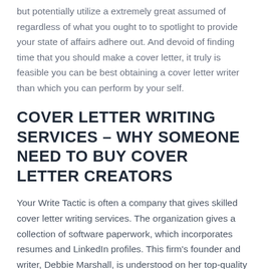but potentially utilize a extremely great assumed of regardless of what you ought to to spotlight to provide your state of affairs adhere out. And devoid of finding time that you should make a cover letter, it truly is feasible you can be best obtaining a cover letter writer than which you can perform by your self.
COVER LETTER WRITING SERVICES – WHY SOMEONE NEED TO BUY COVER LETTER CREATORS
Your Write Tactic is often a company that gives skilled cover letter writing services. The organization gives a collection of software paperwork, which incorporates resumes and LinkedIn profiles. This firm's founder and writer, Debbie Marshall, is understood on her top-quality cover letter writing. She's bigger than twenty abilities although inside the industry setting and it can